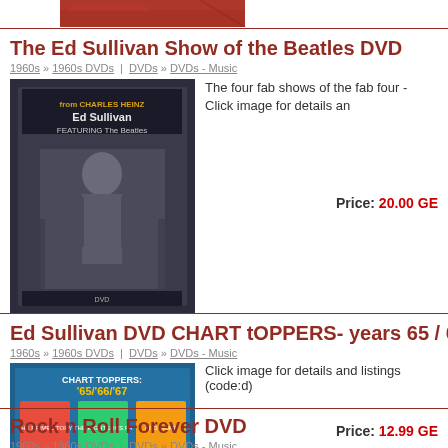[Figure (photo): Partial view of a DVD cover at the top of the page showing a red item]
The Ed Sullivan Show of the Beatles DVD
1960s » 1960s DVDs | DVDs » DVDs - Music
[Figure (photo): The Ed Sullivan Show featuring the Beatles DVD cover - black and white image of Ed Sullivan with Beatles text]
The four fab shows of the fab four - Click image for details an...
Price: 20.00 GB...
Ed Sullivan DVD CHART tOPPERS- years 65 / 66
1960s » 1960s DVDs | DVDs » DVDs - Music
[Figure (photo): Chart Toppers 65/66/67 DVD cover - blue background with colorful images]
Click image for details and listings (code:d)
Price: 12.99 GB...
Rock n Roll Forever DVD
1960s » 1960s DVDs | DVDs » DVDs - Music
[Figure (photo): Rock n Roll Forever DVD cover - orange/yellow colors]
Rock n Roll Forever DVD